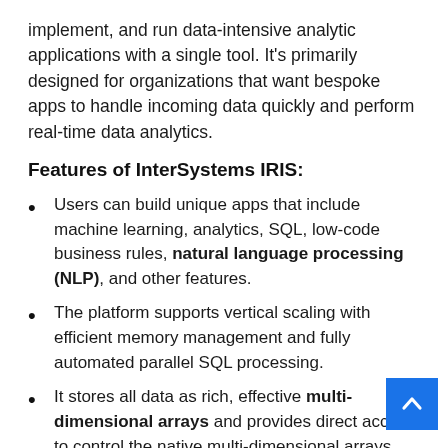implement, and run data-intensive analytic applications with a single tool. It's primarily designed for organizations that want bespoke apps to handle incoming data quickly and perform real-time data analytics.
Features of InterSystems IRIS:
Users can build unique apps that include machine learning, analytics, SQL, low-code business rules, natural language processing (NLP), and other features.
The platform supports vertical scaling with efficient memory management and fully automated parallel SQL processing.
It stores all data as rich, effective multi-dimensional arrays and provides direct access to control the native multi-dimensional arrays.